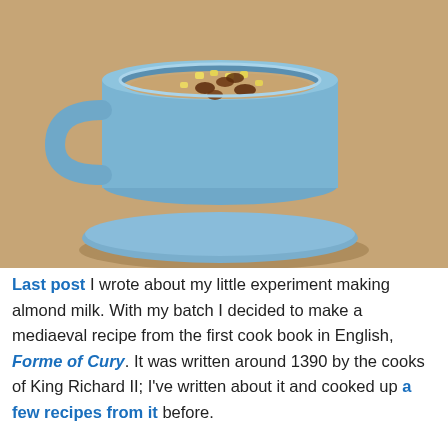[Figure (photo): A blue ceramic mug on a matching blue saucer, filled with a creamy porridge-like dish topped with chopped dates/nuts and corn kernels, sitting on a wooden table.]
Last post I wrote about my little experiment making almond milk. With my batch I decided to make a mediaeval recipe from the first cook book in English, Forme of Cury. It was written around 1390 by the cooks of King Richard II; I've written about it and cooked up a few recipes from it before.